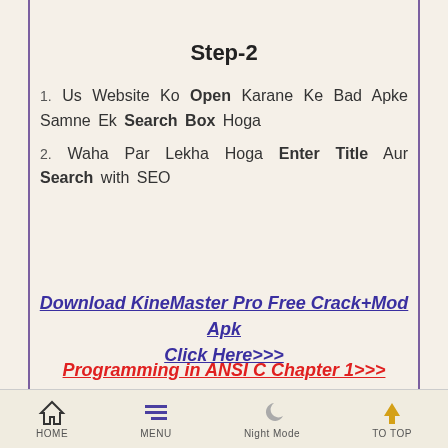Step-2
1. Us Website Ko Open Karane Ke Bad Apke Samne Ek Search Box Hoga
2. Waha Par Lekha Hoga Enter Title Aur Search with SEO
Download KineMaster Pro Free Crack+Mod Apk Click Here>>>
Programming in ANSI C Chapter 1>>>
HOME  MENU  Night Mode  TO TOP